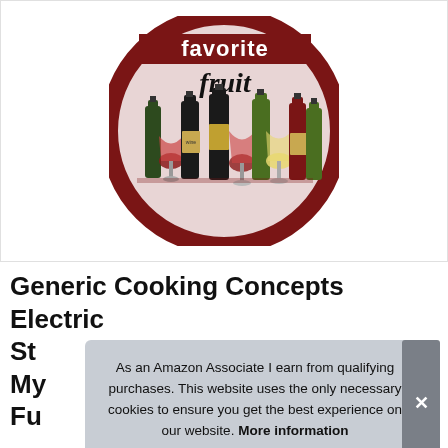[Figure (illustration): A circular decorative item with a dark red border on a light pink/rose background. Text reads 'favorite fruit' with wine bottles and wine glasses illustrated below the text.]
Generic Cooking Concepts Electric St... My... Fu...
As an Amazon Associate I earn from qualifying purchases. This website uses the only necessary cookies to ensure you get the best experience on our website. More information